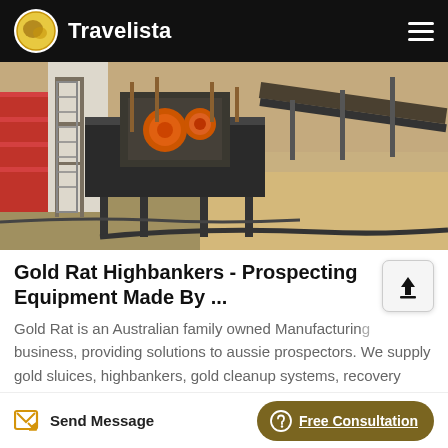Travelista
[Figure (photo): Aerial/overhead view of heavy mining or crushing equipment on a sandy outdoor site, with metal scaffolding, orange machinery components, and a conveyor belt extending to the right.]
Gold Rat Highbankers - Prospecting Equipment Made By ...
Gold Rat is an Australian family owned Manufacturing business, providing solutions to aussie prospectors. We supply gold sluices, highbankers, gold cleanup systems, recovery systems like the famous Vortex Dream Mat...
Send Message   Free Consultation